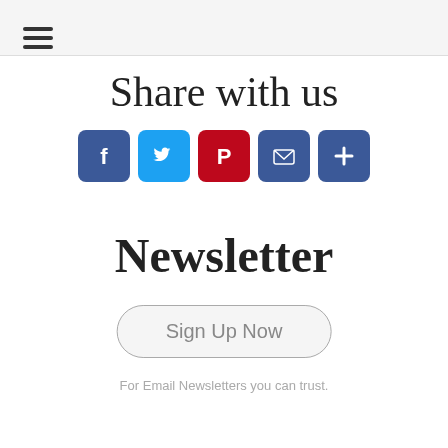≡
Share with us
[Figure (infographic): Row of five social share buttons: Facebook (blue), Twitter (blue), Pinterest (red), Email (blue), More/Plus (blue)]
Newsletter
Sign Up Now
For Email Newsletters you can trust.